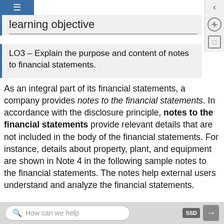learning objective
LO3 – Explain the purpose and content of notes to financial statements.
As an integral part of its financial statements, a company provides notes to the financial statements. In accordance with the disclosure principle, notes to the financial statements provide relevant details that are not included in the body of the financial statements. For instance, details about property, plant, and equipment are shown in Note 4 in the following sample notes to the financial statements. The notes help external users understand and analyze the financial statements.
How can we help